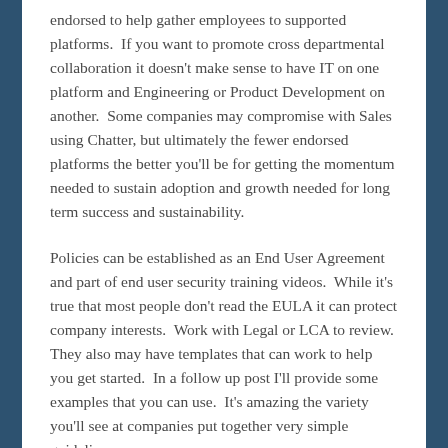endorsed to help gather employees to supported platforms.  If you want to promote cross departmental collaboration it doesn't make sense to have IT on one platform and Engineering or Product Development on another.  Some companies may compromise with Sales using Chatter, but ultimately the fewer endorsed platforms the better you'll be for getting the momentum needed to sustain adoption and growth needed for long term success and sustainability.
Policies can be established as an End User Agreement and part of end user security training videos.  While it's true that most people don't read the EULA it can protect company interests.  Work with Legal or LCA to review.  They also may have templates that can work to help you get started.  In a follow up post I'll provide some examples that you can use.  It's amazing the variety you'll see at companies put together very simple guidelines.